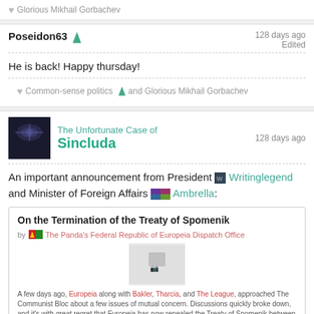♥ Glorious Mikhail Gorbachev
Poseidon63 🔺 128 days ago Edited
He is back! Happy thursday!
♥ Common-sense politics 🔺 and Glorious Mikhail Gorbachev
The Unfortunate Case of Sincluda — 128 days ago
An important announcement from President Writinglegend and Minister of Foreign Affairs Ambrella:
[Figure (screenshot): Dispatch card: 'On the Termination of the Treaty of Spomenik' by The Panda's Federal Republic of Europeia Dispatch Office, with a thumbnail image and excerpt text, and a green 'Read dispatch' button.]
Please upvote the dispatch.